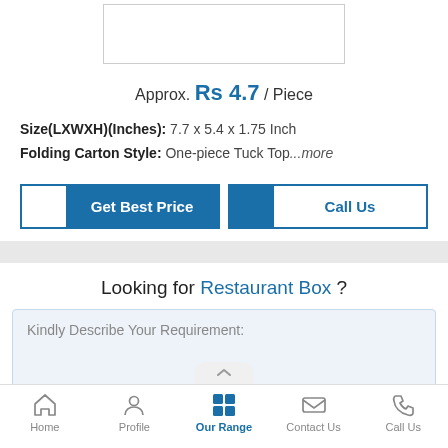[Figure (photo): Product image placeholder box at top]
Approx. Rs 4.7 / Piece
Size(LXWXH)(Inches): 7.7 x 5.4 x 1.75 Inch
Folding Carton Style: One-piece Tuck Top...more
[Figure (other): Get Best Price button]
[Figure (other): Call Us button]
Looking for Restaurant Box ?
Kindly Describe Your Requirement:
Home   Profile   Our Range   Contact Us   Call Us